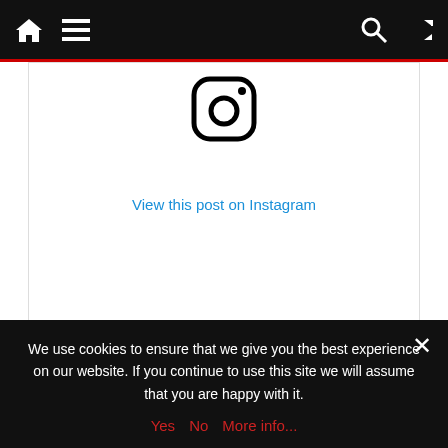Navigation bar with home, menu, search, and shuffle icons
[Figure (screenshot): Instagram embed area showing the Instagram camera logo icon and 'View this post on Instagram' link, with like/comment/share action icons below]
That kind of day...but who cares, it's Saturday!!! ☁ Photo by @edanhier • • • • • #WELOVEBRUSSELS . . . . . . . . . . #brussels #bruxelles #brussel #grandplacebrussels #grotemarktbrussel #grotemarkt #grandplace #Belgium
We use cookies to ensure that we give you the best experience on our website. If you continue to use this site we will assume that you are happy with it.
Yes   No   More info...